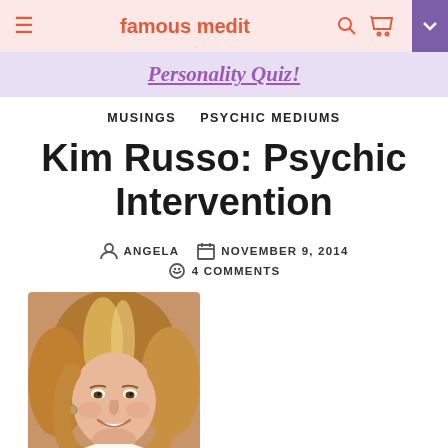famous medit
Personality Quiz!
MUSINGS   PSYCHIC MEDIUMS
Kim Russo: Psychic Intervention
ANGELA   NOVEMBER 9, 2014
4 COMMENTS
[Figure (photo): Portrait photo of Kim Russo, a woman with blonde highlighted hair, smiling, wearing earrings]